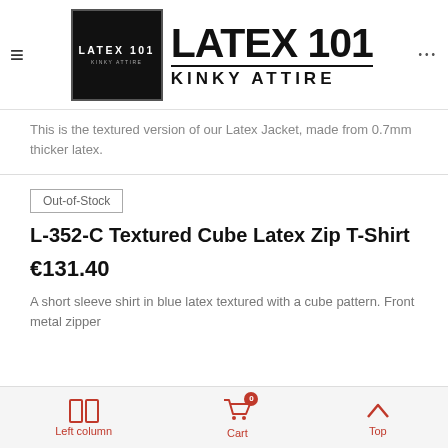LATEX 101 KINKY ATTIRE
This is the textured version of our Latex Jacket, made from 0.7mm thicker latex.
Out-of-Stock
L-352-C Textured Cube Latex Zip T-Shirt
€131.40
A short sleeve shirt in blue latex textured with a cube pattern. Front metal zipper
Left column  Cart  Top